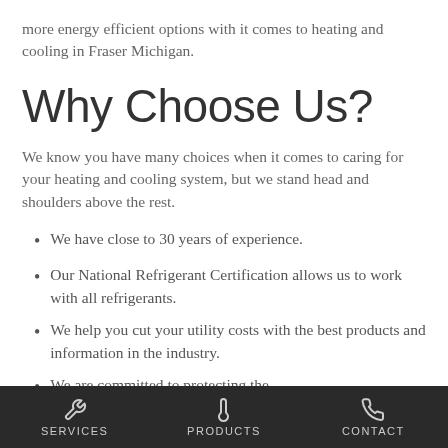more energy efficient options with it comes to heating and cooling in Fraser Michigan.
Why Choose Us?
We know you have many choices when it comes to caring for your heating and cooling system, but we stand head and shoulders above the rest.
We have close to 30 years of experience.
Our National Refrigerant Certification allows us to work with all refrigerants.
We help you cut your utility costs with the best products and information in the industry.
We are committed to protecting the
SERVICES   PRODUCTS   CONTACT